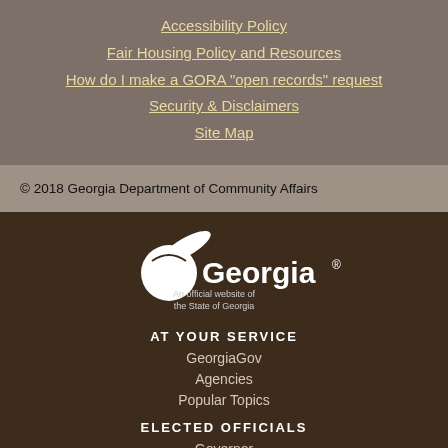Accessibility Policy
Fair Housing Policy and Resources
How do I make a GORA "open records" request
Security & Disclaimers
Site Map
© 2018 Georgia Department of Community Affairs
[Figure (logo): Georgia state logo with peach icon and text 'Georgia®'. Below: 'An official website of the State of Georgia']
AT YOUR SERVICE
GeorgiaGov
Agencies
Popular Topics
ELECTED OFFICIALS
Governor